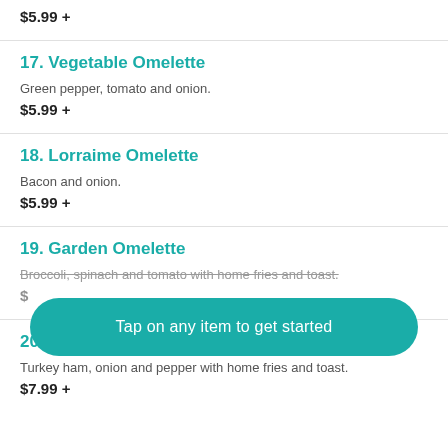$5.99 +
17. Vegetable Omelette
Green pepper, tomato and onion.
$5.99 +
18. Lorraime Omelette
Bacon and onion.
$5.99 +
19. Garden Omelette
Broccoli, spinach and tomato with home fries and toast.
$...
[Figure (screenshot): Teal rounded button overlay with text: Tap on any item to get started]
20. Western Omelette
Turkey ham, onion and pepper with home fries and toast.
$7.99 +